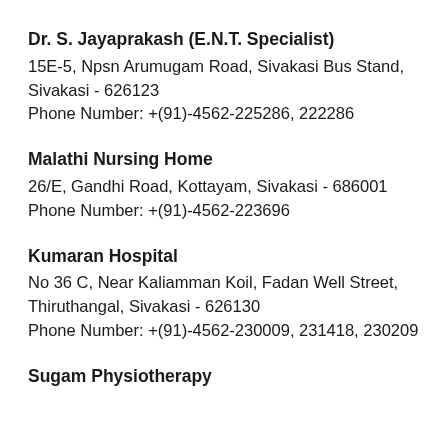Dr. S. Jayaprakash (E.N.T. Specialist)
15E-5, Npsn Arumugam Road, Sivakasi Bus Stand, Sivakasi - 626123
Phone Number: +(91)-4562-225286, 222286
Malathi Nursing Home
26/E, Gandhi Road, Kottayam, Sivakasi - 686001
Phone Number: +(91)-4562-223696
Kumaran Hospital
No 36 C, Near Kaliamman Koil, Fadan Well Street, Thiruthangal, Sivakasi - 626130
Phone Number: +(91)-4562-230009, 231418, 230209
Sugam Physiotherapy